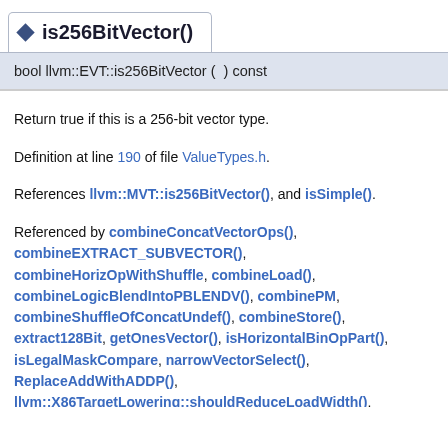is256BitVector()
bool llvm::EVT::is256BitVector ( ) const
Return true if this is a 256-bit vector type.
Definition at line 190 of file ValueTypes.h.
References llvm::MVT::is256BitVector(), and isSimple().
Referenced by combineConcatVectorOps(), combineEXTRACT_SUBVECTOR(), combineHorizOpWithShuffle(), combineLoad(), combineLogicBlendIntoPBLENDV(), combinePM(), combineShuffleOfConcatUndef(), combineStore(), extract128BitV(), getOnesVector(), isHorizontalBinOpPart(), isLegalMaskCompare(), narrowVectorSelect(), ReplaceAddWithADDP(), llvm::X86TargetLowering::shouldReduceLoadWidth(), llvm::X86TargetLowering::SimplifyDemandedVectorEltsForTarget(), splitVectorIntBinary(), splitVectorIntUnary(), splitVectorsStore(), truncateVectorWithNARROW(), and truncateVectorWithPACK().